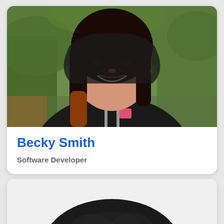[Figure (photo): Profile photo card of Becky Smith — a woman with long dark hair with reddish-brown ombre tips, smiling, wearing a black hoodie, photographed outdoors with green foliage in background]
Becky Smith
Software Developer
[Figure (photo): Partial profile photo of a second person — only the top of their head with dark/black hair is visible, cut off by the page edge]